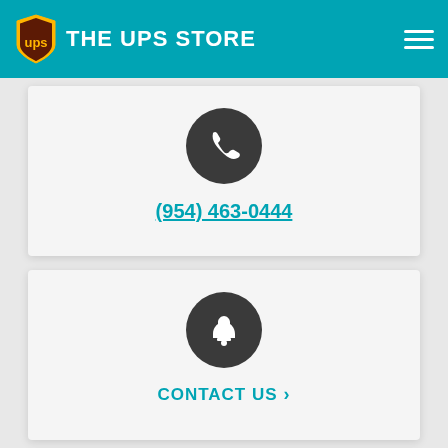THE UPS STORE
[Figure (other): Phone icon in dark circle, with phone number link (954) 463-0444]
(954) 463-0444
[Figure (other): Bell notification icon in dark circle, with CONTACT US link]
CONTACT US